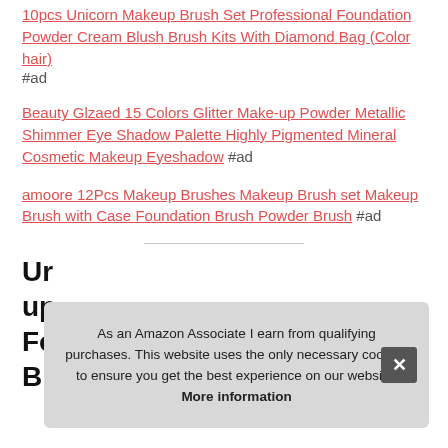10pcs Unicorn Makeup Brush Set Professional Foundation Powder Cream Blush Brush Kits With Diamond Bag (Color hair) #ad
Beauty Glzaed 15 Colors Glitter Make-up Powder Metallic Shimmer Eye Shadow Palette Highly Pigmented Mineral Cosmetic Makeup Eyeshadow #ad
amoore 12Pcs Makeup Brushes Makeup Brush set Makeup Brush with Case Foundation Brush Powder Brush #ad
Ur up Fo Blending...
As an Amazon Associate I earn from qualifying purchases. This website uses the only necessary cookies to ensure you get the best experience on our website. More information